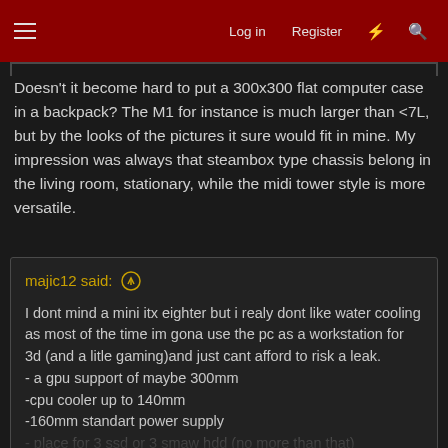Log in  Register
Doesn't it become hard to put a 300x300 flat computer case in a backpack? The M1 for instance is much larger than <7L, but by the looks of the pictures it sure would fit in mine. My impression was always that steambox type chassis belong in the living room, stationary, while the midi tower style is more versatile.
majic12 said: ↑
I dont mind a mini itx eighter but i realy dont like water cooling as most of the time im gona use the pc as a workstation for 3d (and a litle gaming)and just cant afford to risk a leak.
- a gpu support of maybe 300mm
-cpu cooler up to 140mm
-160mm standart power supply
- place for 3 ssd or 3 smaw hdd (no more than that)
-the use of 140mm fans or 120mm fans that help
Click to expand...
3D as in Maya/Blender, or more as in Vegas/After Effects? When I did lots of video editing I wouldn't survive without at